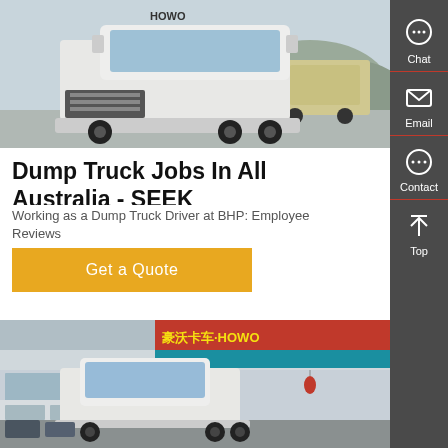[Figure (photo): White HOWO semi-truck cab parked in a lot, front-side view, with mountains in background]
Dump Truck Jobs In All Australia - SEEK
Working as a Dump Truck Driver at BHP: Employee Reviews
Get a Quote
[Figure (photo): HOWO truck dealership exterior with Chinese characters and HOWO branding, white semi-truck parked in front]
[Figure (infographic): Side panel with Chat, Email, Contact, and Top icons on dark grey background]